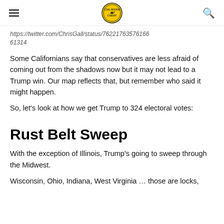Coal Region Canary (logo)
https://twitter.com/ChrisGall/status/76221763576166 61314
Some Californians say that conservatives are less afraid of coming out from the shadows now but it may not lead to a Trump win. Our map reflects that, but remember who said it might happen.
So, let's look at how we get Trump to 324 electoral votes:
Rust Belt Sweep
With the exception of Illinois, Trump's going to sweep through the Midwest.
Wisconsin, Ohio, Indiana, West Virginia ... those are locks,